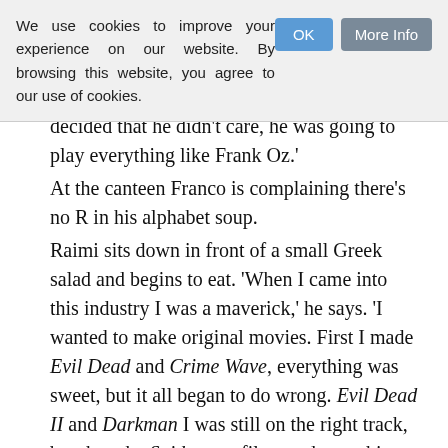We use cookies to improve your experience on our website. By browsing this website, you agree to our use of cookies.
decided that he didn't care, he was going to play everything like Frank Oz.'
At the canteen Franco is complaining there's no R in his alphabet soup.
Raimi sits down in front of a small Greek salad and begins to eat. 'When I came into this industry I was a maverick,' he says. 'I wanted to make original movies. First I made Evil Dead and Crime Wave, everything was sweet, but it all began to do wrong. Evil Dead II and Darkman I was still on the right track, but then the Spiderman films and now this. What have I done? What have I done?'
Raimi is weeping now. Tears run down his face and into his feta cheese.
'Spiderman 2 was okay,' I say.